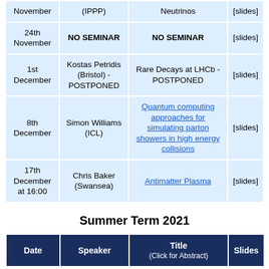| Date | Speaker | Title | Slides |
| --- | --- | --- | --- |
| November | (IPPP) | Neutrinos | [slides] |
| 24th November | NO SEMINAR | NO SEMINAR | [slides] |
| 1st December | Kostas Petridis (Bristol) - POSTPONED | Rare Decays at LHCb - POSTPONED | [slides] |
| 8th December | Simon Williams (ICL) | Quantum computing approaches for simulating parton showers in high energy collisions | [slides] |
| 17th December at 16:00 | Chris Baker (Swansea) | Antimatter Plasma | [slides] |
Summer Term 2021
| Date | Speaker | Title (Click for Abstract) | Slides |
| --- | --- | --- | --- |